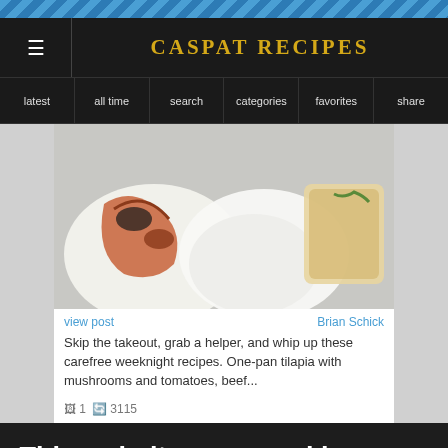CASPAT RECIPES
latest | all time | search | categories | favorites | share
[Figure (photo): Food photo showing shrimp and other dishes on white plates viewed from above]
view post   Brian Schick
Skip the takeout, grab a helper, and whip up these carefree weeknight recipes. One-pan tilapia with mushrooms and tomatoes, beef...
This website uses cookies to improve your experience. Learn More